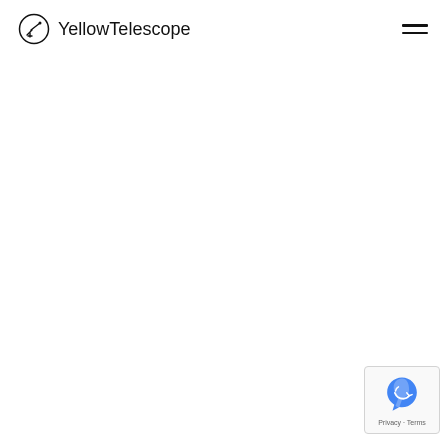YellowTelescope
[Figure (logo): reCAPTCHA badge in bottom-right corner with reCAPTCHA icon and Privacy - Terms text]